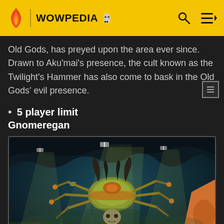WOWPEDIA
Old Gods, has preyed upon the area ever since. Drawn to Aku'mai's presence, the cult known as the Twilight's Hammer has also come to bask in the Old Gods' evil presence.
5 player limit
Gnomeregan
[Figure (photo): Screenshot from World of Warcraft showing the Gnomeregan dungeon with mechanical spider-like boss creature hovering in a dimly lit cavern with spotlights, accompanied by smaller gnome/zombie-like enemies]